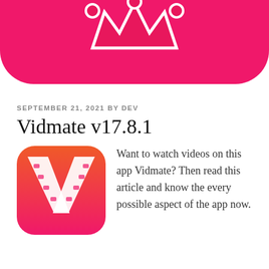[Figure (illustration): Pink/magenta banner with rounded bottom corners showing a partial crown/logo icon at the top center]
SEPTEMBER 21, 2021 BY DEV
Vidmate v17.8.1
[Figure (logo): Vidmate app icon: orange-to-pink gradient rounded square with a large white V shape made of film strip]
Want to watch videos on this app Vidmate? Then read this article and know the every possible aspect of the app now.